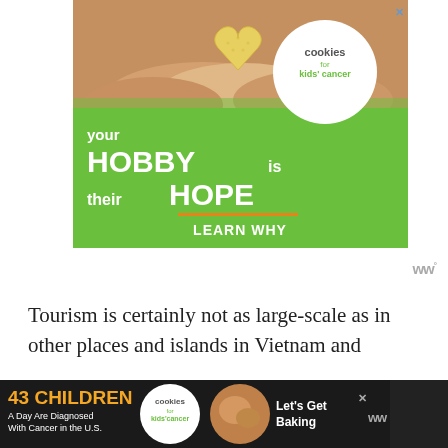[Figure (illustration): Advertisement banner for 'Cookies for Kids' Cancer' charity. Green background with hands holding a heart-shaped cookie. Text reads: 'your HOBBY is their HOPE' with 'LEARN WHY' call to action. White circular logo/badge for 'cookies for kids' cancer'.]
Tourism is certainly not as large-scale as in other places and islands in Vietnam and
[Figure (illustration): Bottom banner advertisement: '43 CHILDREN A Day Are Diagnosed With Cancer in the U.S.' with Cookies for Kids Cancer logo and 'Let's Get Baking' call to action on dark background.]